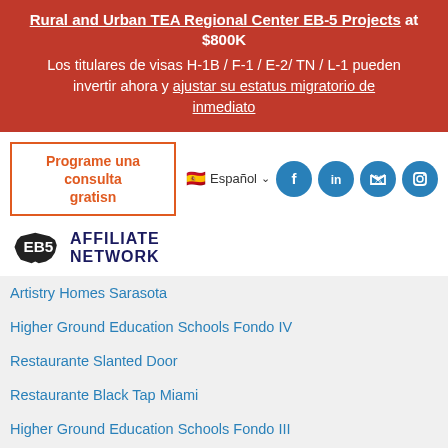Rural and Urban TEA Regional Center EB-5 Projects at $800K
Los titulares de visas H-1B / F-1 / E-2/ TN / L-1 pueden invertir ahora y ajustar su estatus migratorio de inmediato
Programe una consulta gratisn
Español
[Figure (logo): EB5 Affiliate Network logo with US map silhouette]
Artistry Homes Sarasota
Higher Ground Education Schools Fondo IV
Restaurante Slanted Door
Restaurante Black Tap Miami
Higher Ground Education Schools Fondo III
Higher Ground Education Schools Fondo II